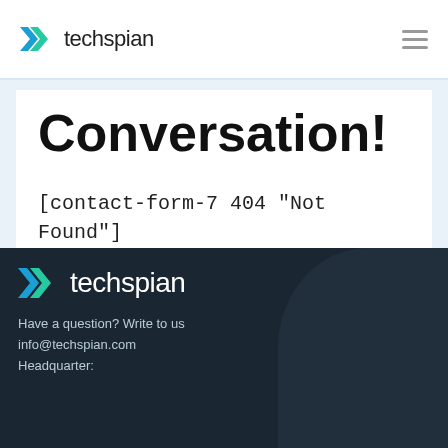techspian
Conversation!
[contact-form-7 404 "Not Found"]
[Figure (logo): Techspian logo with double chevron arrows in blue/teal gradient and text 'techspian' in white, displayed in dark footer section]
Have a question? Write to us
info@techspian.com
Headquarter: